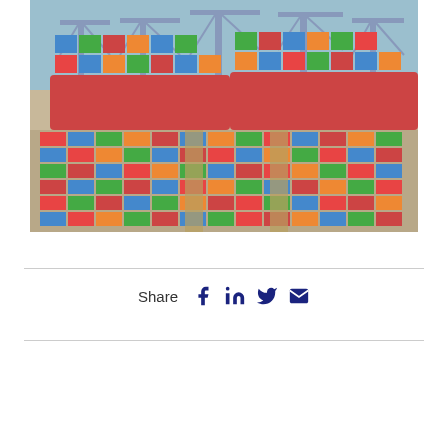[Figure (photo): Aerial view of a busy container shipping port with large cranes, stacked colorful shipping containers, and cargo ships docked at the terminal. The water is visible in the background.]
Share